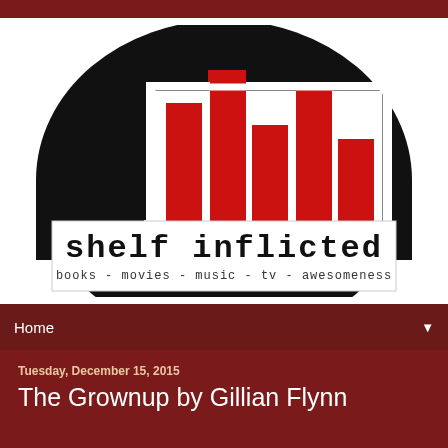[Figure (logo): Shelf Inflicted logo: black semicircle with red bar chart books inside, white rectangular banner below reading 'shelf inflicted' with subtitle 'books - movies - music - tv - awesomeness']
Home
Tuesday, December 15, 2015
The Grownup by Gillian Flynn